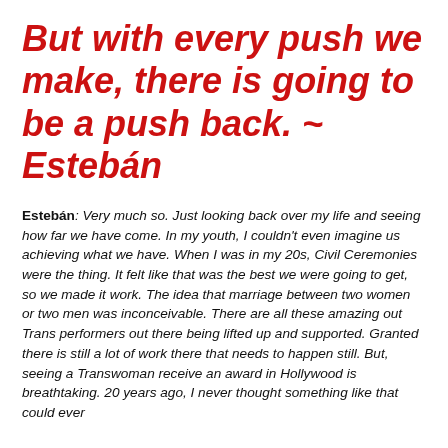But with every push we make, there is going to be a push back. ~ Estebán
Estebán: Very much so. Just looking back over my life and seeing how far we have come. In my youth, I couldn't even imagine us achieving what we have. When I was in my 20s, Civil Ceremonies were the thing. It felt like that was the best we were going to get, so we made it work. The idea that marriage between two women or two men was inconceivable. There are all these amazing out Trans performers out there being lifted up and supported. Granted there is still a lot of work there that needs to happen still. But, seeing a Transwoman receive an award in Hollywood is breathtaking. 20 years ago, I never thought something like that could ever